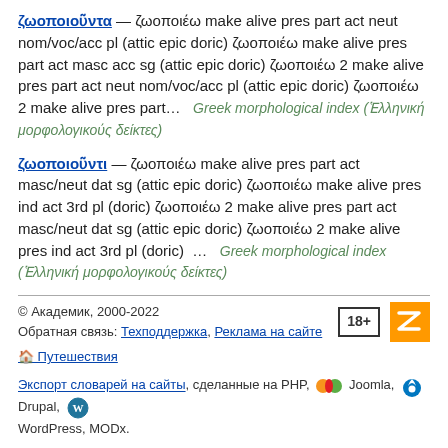ζωοποιοῦντα — ζωοποιέω make alive pres part act neut nom/voc/acc pl (attic epic doric) ζωοποιέω make alive pres part act masc acc sg (attic epic doric) ζωοποιέω 2 make alive pres part act neut nom/voc/acc pl (attic epic doric) ζωοποιέω 2 make alive pres part… … Greek morphological index (Ἑλληνική μορφολογικούς δείκτες)
ζωοποιοῦντι — ζωοποιέω make alive pres part act masc/neut dat sg (attic epic doric) ζωοποιέω make alive pres ind act 3rd pl (doric) ζωοποιέω 2 make alive pres part act masc/neut dat sg (attic epic doric) ζωοποιέω 2 make alive pres ind act 3rd pl (doric) … Greek morphological index (Ἑλληνική μορφολογικούς δείκτες)
© Академик, 2000-2022
Обратная связь: Техподдержка, Реклама на сайте
🏠 Путешествия
Экспорт словарей на сайты, сделанные на PHP, Joomla, Drupal, WordPress, MODx.